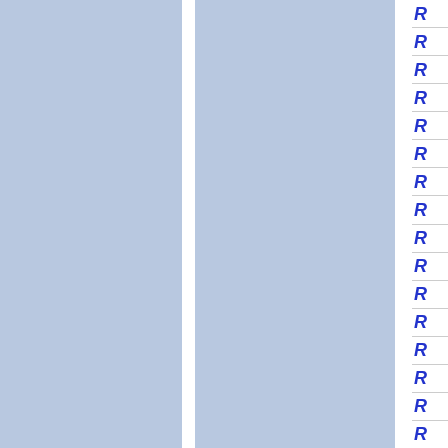[Figure (other): Page showing two blue-grey panel columns separated by a white vertical divider strip, with a narrow right sidebar containing a vertical list of rows each showing the letter R in bold italic blue font, separated by thin horizontal lines.]